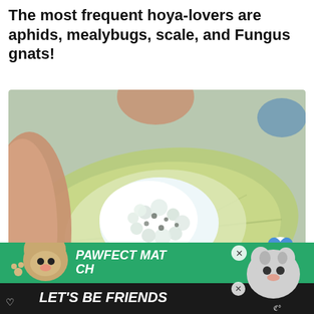The most frequent hoya-lovers are aphids, mealybugs, scale, and Fungus gnats!
[Figure (photo): Close-up photo of a hand holding a pale green leaf with a large cluster of white mealybugs on it. Social media UI overlays visible including a heart/like button, count of 1, and share button.]
Mealybugs (Source: Unsplash)
[Figure (infographic): A 'What's Next' recommendation box showing a thumbnail image of an insect and text 'How to Identify Inse...' with a blue arrow and label 'WHAT'S NEXT →']
[Figure (photo): Green advertisement banner for 'PAWFECT MATCH' with dogs (chihuahua and husky) and text 'LET'S BE FRIENDS' with close buttons and a heart outline icon. Weather widget visible at bottom right.]